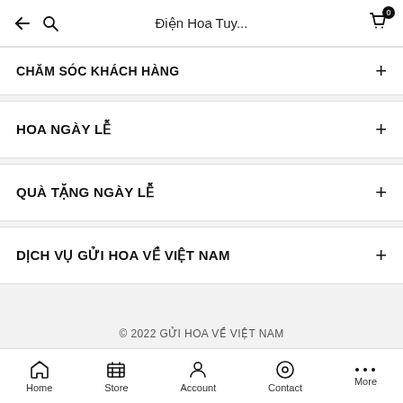Điện Hoa Tuy...
CHĂM SÓC KHÁCH HÀNG
HOA NGÀY LỄ
QUÀ TẶNG NGÀY LỄ
DỊCH VỤ GỬI HOA VỀ VIỆT NAM
© 2022 GỬI HOA VỀ VIỆT NAM
Home Store Account Contact More